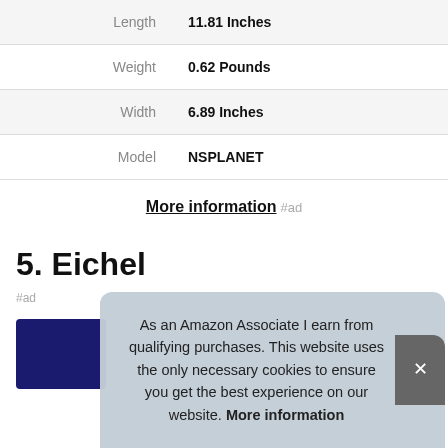| Attribute | Value |
| --- | --- |
| Length | 11.81 Inches |
| Weight | 0.62 Pounds |
| Width | 6.89 Inches |
| Model | NSPLANET |
More information #ad
5. Eichel
#ad
As an Amazon Associate I earn from qualifying purchases. This website uses the only necessary cookies to ensure you get the best experience on our website. More information